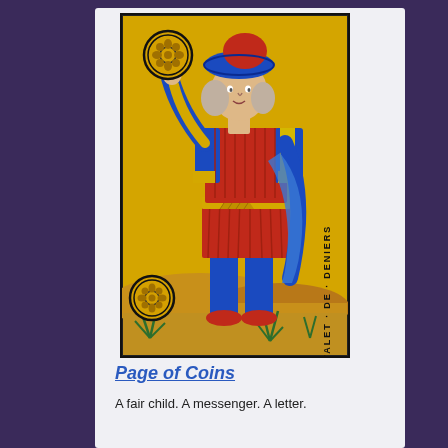[Figure (illustration): Tarot card illustration: Valet de Deniers (Page of Coins). A figure in medieval court jester costume with blue and red outfit and blue hat holds a golden coin disc with flower design aloft in right hand. Another coin disc appears at the lower left. Text 'VALET · DE · DENIERS' runs vertically on the right side. Background is golden yellow with sandy hills and green plants at bottom. Card has dark border.]
Page of Coins
A fair child. A messenger. A letter.